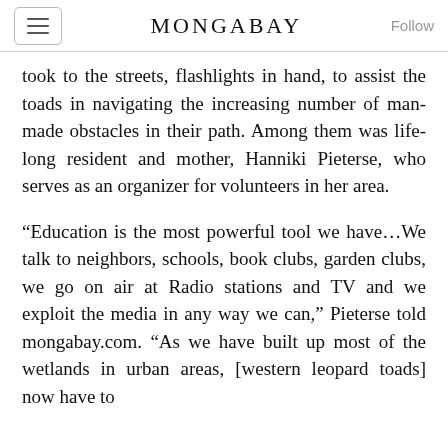MONGABAY
took to the streets, flashlights in hand, to assist the toads in navigating the increasing number of man-made obstacles in their path. Among them was life-long resident and mother, Hanniki Pieterse, who serves as an organizer for volunteers in her area.
“Education is the most powerful tool we have…We talk to neighbors, schools, book clubs, garden clubs, we go on air at Radio stations and TV and we exploit the media in any way we can,” Pieterse told mongabay.com. “As we have built up most of the wetlands in urban areas, [western leopard toads] now have to